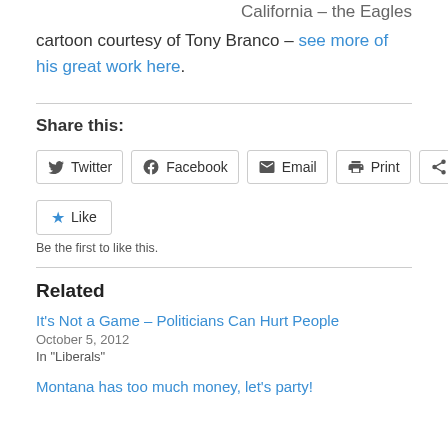California – the Eagles
cartoon courtesy of Tony Branco – see more of his great work here.
Share this:
Twitter  Facebook  Email  Print  More
Like
Be the first to like this.
Related
It's Not a Game – Politicians Can Hurt People
October 5, 2012
In "Liberals"
Montana has too much money, let's party!